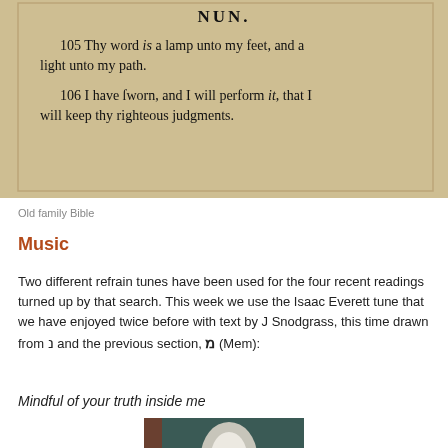[Figure (photo): Old family Bible open to Psalm 119, showing verses 105 and 106 under the heading NUN. Text reads: '105 Thy word is a lamp unto my feet, and a light unto my path. 106 I have sworn, and I will perform it, that I will keep thy righteous judgments.']
Old family Bible
Music
Two different refrain tunes have been used for the four recent readings turned up by that search. This week we use the Isaac Everett tune that we have enjoyed twice before with text by J Snodgrass, this time drawn from נ and the previous section, מ (Mem):
Mindful of your truth inside me
[Figure (photo): Partially visible photo showing a blurred oval light shape against a dark background, likely sheet music or a performance photo.]